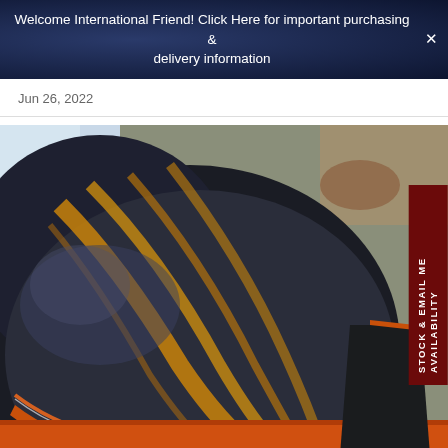Welcome International Friend! Click Here for important purchasing & delivery information
Jun 26, 2022
[Figure (photo): Close-up photograph of the back of an acoustic guitar showing dark blue-black ebony wood with distinctive streaks of golden-orange grain running across the curved body. The guitar has an orange/red binding along the edge. The instrument is resting on what appears to a colorful textile/rug.]
STOCK & EMAIL ME AVAILABILITY